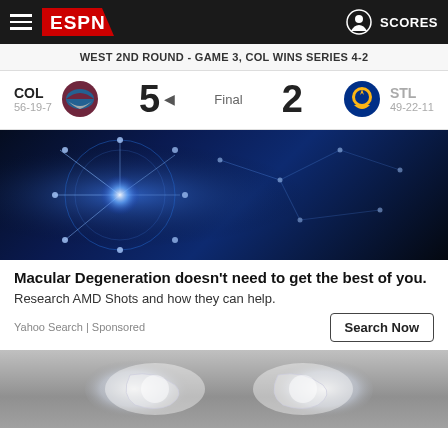ESPN - SCORES
WEST 2ND ROUND - GAME 3, COL WINS SERIES 4-2
| Team | Score | Status | Score | Team |
| --- | --- | --- | --- | --- |
| COL 56-19-7 | 5 | Final | 2 | STL 49-22-11 |
[Figure (photo): Dark blue digital/neural network visualization with glowing blue brain-like structure and constellation lines]
Macular Degeneration doesn't need to get the best of you.
Research AMD Shots and how they can help.
Yahoo Search | Sponsored
[Figure (photo): Gray background with white/translucent medical 3D renderings of joints or ear anatomy]